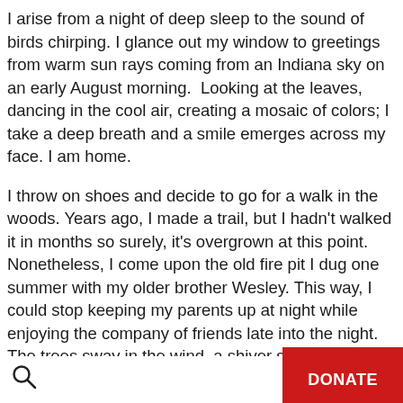I arise from a night of deep sleep to the sound of birds chirping. I glance out my window to greetings from warm sun rays coming from an Indiana sky on an early August morning.  Looking at the leaves, dancing in the cool air, creating a mosaic of colors; I take a deep breath and a smile emerges across my face. I am home.
I throw on shoes and decide to go for a walk in the woods. Years ago, I made a trail, but I hadn't walked it in months so surely, it's overgrown at this point. Nonetheless, I come upon the old fire pit I dug one summer with my older brother Wesley. This way, I could stop keeping my parents up at night while enjoying the company of friends late into the night. The trees sway in the wind, a shiver shoots up my
🔍   DONATE